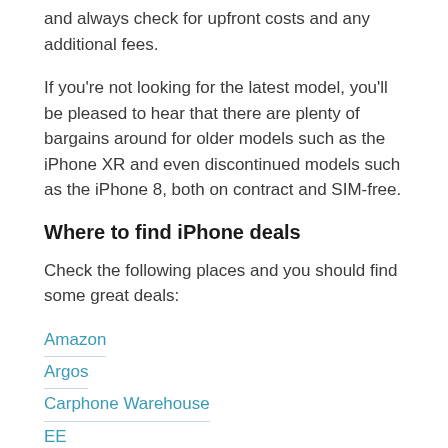and always check for upfront costs and any additional fees.
If you're not looking for the latest model, you'll be pleased to hear that there are plenty of bargains around for older models such as the iPhone XR and even discontinued models such as the iPhone 8, both on contract and SIM-free.
Where to find iPhone deals
Check the following places and you should find some great deals:
Amazon
Argos
Carphone Warehouse
EE